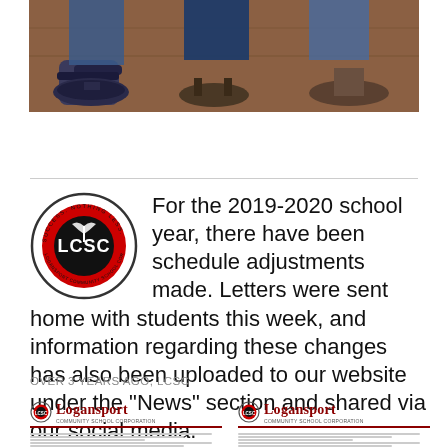[Figure (photo): Photograph showing feet and shoes of several people standing on a brick or tiled floor]
For the 2019-2020 school year, there have been schedule adjustments made. Letters were sent home with students this week, and information regarding these changes has also been uploaded to our website under the "News" section and shared via our social media.
OVER 3 YEARS AGO, LCSC
[Figure (photo): Two side-by-side Logansport Community School Corporation letters - one in English and one in Spanish]
[Figure (photo): Logansport Community School Corporation letter in Spanish]